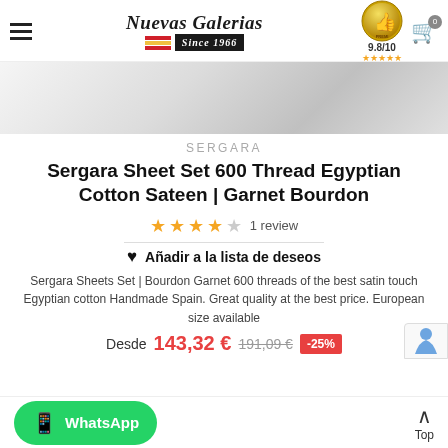Nuevas Galerias Since 1966 | Rating: 9.8/10
[Figure (photo): Product image of white/light grey sheet fabric]
SERGARA
Sergara Sheet Set 600 Thread Egyptian Cotton Sateen | Garnet Bourdon
★★★★☆ 1 review
♥ Añadir a la lista de deseos
Sergara Sheets Set | Bourdon Garnet 600 threads of the best satin touch Egyptian cotton Handmade Spain. Great quality at the best price. European size available
Desde 143,32 € 191,09 € -25%
WhatsApp | Top